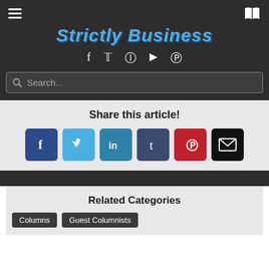Strictly Business
Share this article!
[Figure (infographic): Share buttons for Facebook, Twitter, LinkedIn, Tumblr, Pinterest, and Email]
Related Categories
Columns
Guest Columnists